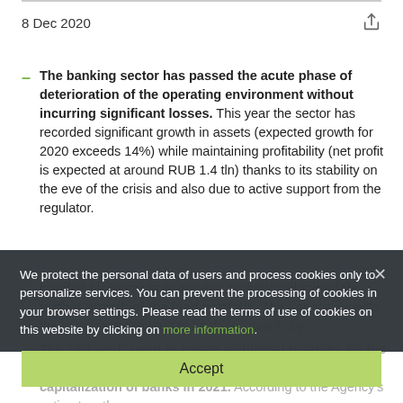8 Dec 2020
The banking sector has passed the acute phase of deterioration of the operating environment without incurring significant losses. This year the sector has recorded significant growth in assets (expected growth for 2020 exceeds 14%) while maintaining profitability (net profit is expected at around RUB 1.4 tln) thanks to its stability on the eve of the crisis and also due to active support from the regulator.
Limited recovery in economic activity will stimulate further growth of the loan portfolio. The Agency expects the base case scenario to be driven mainly by...
The "delayed" need to create additional reserves for the loan portfolio will impact the profitability and capitalization of banks in 2021. According to the Agency's estimates, the...
We protect the personal data of users and process cookies only to personalize services. You can prevent the processing of cookies in your browser settings. Please read the terms of use of cookies on this website by clicking on more information.
Accept